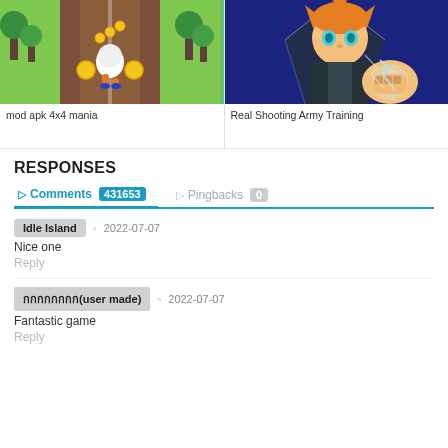[Figure (screenshot): Game screenshot showing a running game with a panda-like character on a road with coins]
mod apk 4x4 mania
[Figure (illustration): Anime-style illustration of a boy with orange hair punching toward the viewer with a glowing fist]
Real Shooting Army Training
RESPONSES
Comments 431653   Pingbacks 0
Idle Island   2022-07-07
Nice one
Reply
กกกกกกกก(user made)   2022-07-07
Fantastic game
Reply